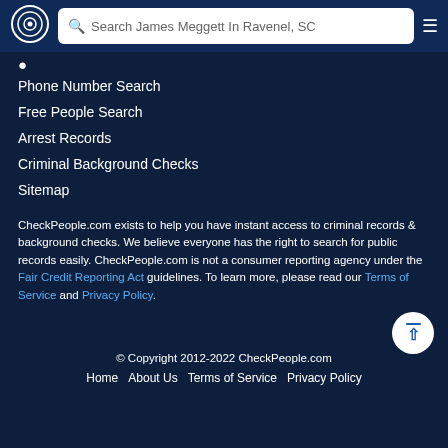Search James Meggett In Ravenel, SC
Phone Number Search
Free People Search
Arrest Records
Criminal Background Checks
Sitemap
CheckPeople.com exists to help you have instant access to criminal records & background checks. We believe everyone has the right to search for public records easily. CheckPeople.com is not a consumer reporting agency under the Fair Credit Reporting Act guidelines. To learn more, please read our Terms of Service and Privacy Policy.
© Copyright 2012-2022 CheckPeople.com
Home   About Us   Terms of Service   Privacy Policy